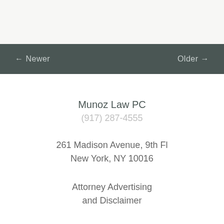← Newer    Older →
Munoz Law PC
(917) 287-4555
261 Madison Avenue, 9th Fl
New York, NY 10016
Attorney Advertising and Disclaimer
© 2014 Munoz Law PC